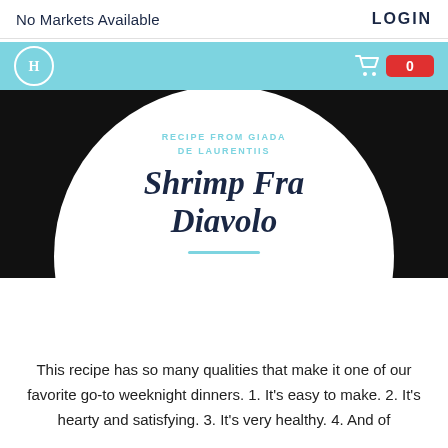No Markets Available
LOGIN
[Figure (logo): Circular logo with H initial on teal navigation bar, with shopping cart and badge showing 0]
[Figure (photo): Dark/black hero image background with white circle overlay containing recipe attribution]
RECIPE FROM GIADA DE LAURENTIIS
Shrimp Fra Diavolo
This recipe has so many qualities that make it one of our favorite go-to weeknight dinners. 1. It's easy to make. 2. It's hearty and satisfying. 3. It's very healthy. 4. And of